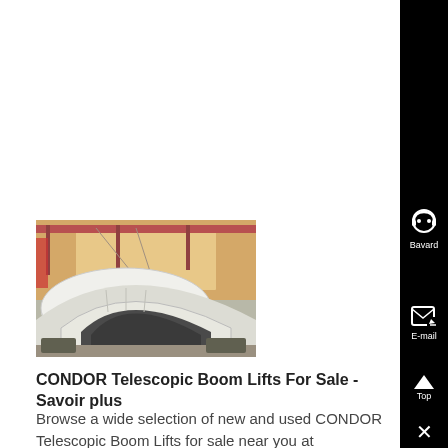[Figure (photo): Industrial photo showing large curved machinery/drum components in a factory warehouse setting with overhead cranes visible in the background]
CONDOR Telescopic Boom Lifts For Sale - Savoir plus
Browse a wide selection of new and used CONDOR Telescopic Boom Lifts for sale near you at MachineryTrader